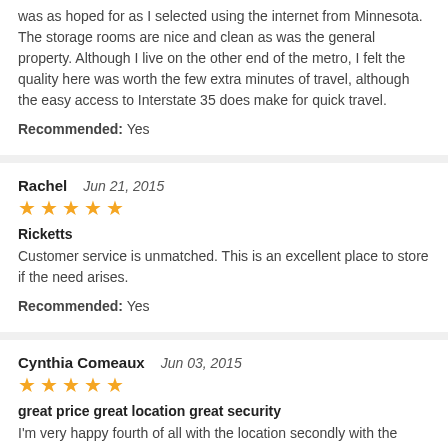was as hoped for as I selected using the internet from Minnesota. The storage rooms are nice and clean as was the general property. Although I live on the other end of the metro, I felt the quality here was worth the few extra minutes of travel, although the easy access to Interstate 35 does make for quick travel.
Recommended: Yes
Rachel   Jun 21, 2015
Ricketts
Customer service is unmatched. This is an excellent place to store if the need arises.
Recommended: Yes
Cynthia Comeaux   Jun 03, 2015
great price great location great security
I'm very happy fourth of all with the location secondly with the